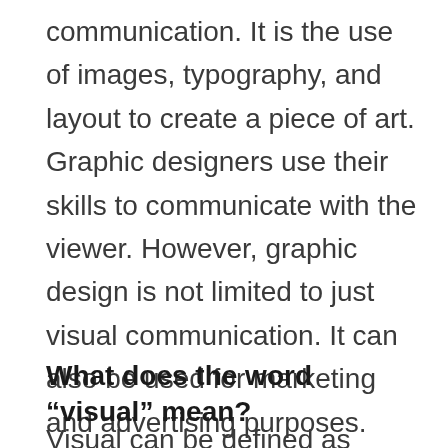communication. It is the use of images, typography, and layout to create a piece of art. Graphic designers use their skills to communicate with the viewer. However, graphic design is not limited to just visual communication. It can also be used for marketing and advertising purposes. Graphic designers must understand the principles of advertising and how to create an effective advertisement.
What does the word “visual” mean?
Visual can be defined as something that is